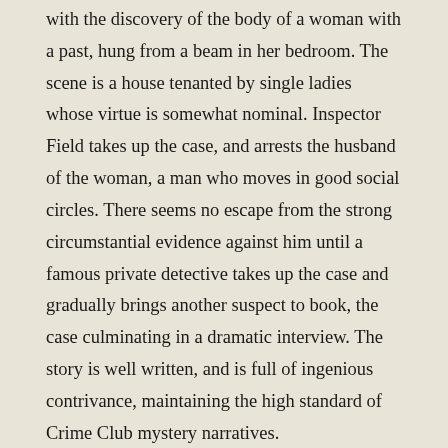with the discovery of the body of a woman with a past, hung from a beam in her bedroom. The scene is a house tenanted by single ladies whose virtue is somewhat nominal. Inspector Field takes up the case, and arrests the husband of the woman, a man who moves in good social circles. There seems no escape from the strong circumstantial evidence against him until a famous private detective takes up the case and gradually brings another suspect to book, the case culminating in a dramatic interview. The story is well written, and is full of ingenious contrivance, maintaining the high standard of Crime Club mystery narratives.
Daily Herald (Roger Pippett, 7th January 1932): The New Year has dawned most hopefully for thriller fans. Freeman Wills Crofts offers Sudden Death. Anthony